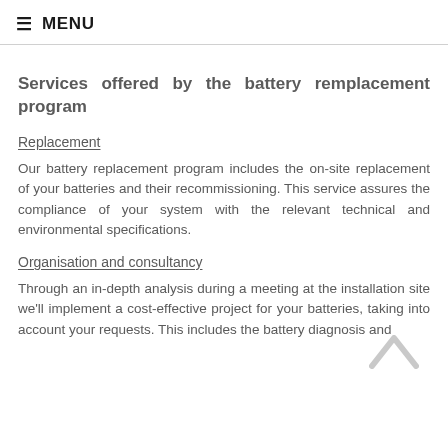≡ MENU
Services offered by the battery remplacement program
Replacement
Our battery replacement program includes the on-site replacement of your batteries and their recommissioning. This service assures the compliance of your system with the relevant technical and environmental specifications.
Organisation and consultancy
Through an in-depth analysis during a meeting at the installation site we'll implement a cost-effective project for your batteries, taking into account your requests. This includes the battery diagnosis and